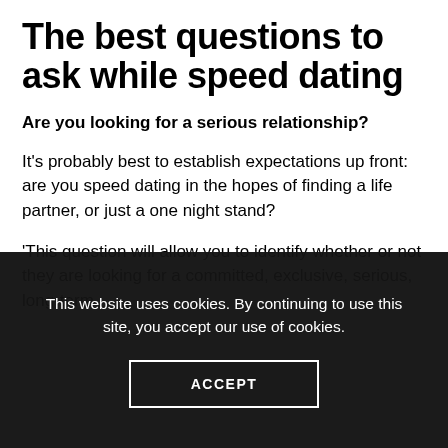The best questions to ask while speed dating
Are you looking for a serious relationship?
It's probably best to establish expectations up front: are you speed dating in the hopes of finding a life partner, or just a one night stand?
'This question will allow you to identify whether or not they are looking for a committed, exclusive, serious, long-term
This website uses cookies. By continuing to use this site, you accept our use of cookies.